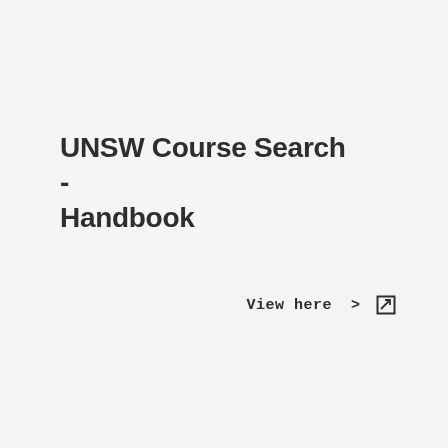UNSW Course Search - Handbook
View here >  ⧉